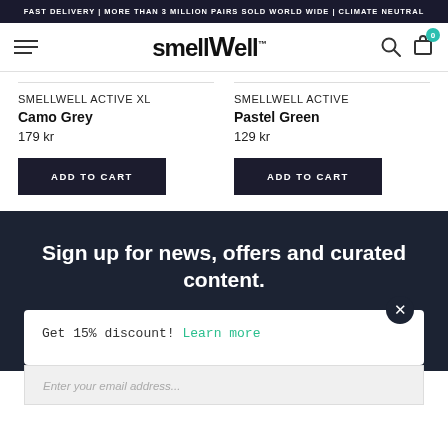FAST DELIVERY | MORE THAN 3 MILLION PAIRS SOLD WORLD WIDE | CLIMATE NEUTRAL
[Figure (logo): SmellWell logo with hamburger menu, search icon, and cart icon with badge 0]
SMELLWELL ACTIVE XL
Camo Grey
179 kr
SMELLWELL ACTIVE
Pastel Green
129 kr
ADD TO CART
ADD TO CART
Sign up for news, offers and curated content.
Get 15% discount! Learn more
Enter your email address...